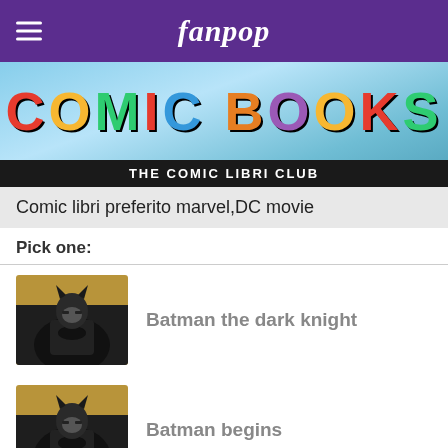fanpop
[Figure (illustration): Comic Books banner with colorful letters on a blue sky background]
THE COMIC LIBRI CLUB
Comic libri preferito marvel,DC movie
Pick one:
[Figure (photo): Batman in dark knight suit, full body portrait against comic background]
Batman the dark knight
[Figure (photo): Batman in dark knight suit, similar pose, second option]
Batman begins
[Figure (photo): Blue image, partially visible third option]